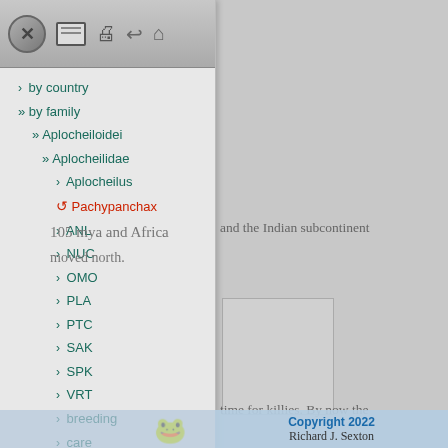[Figure (screenshot): Navigation panel overlay showing a hierarchical tree menu with taxonomy entries for fish families. Toolbar with close, document, print, back, and home buttons at top. Items include: by country, by family, Aplocheiloidei, Aplocheilidae, Aplocheilus, Pachypanchax (with red circular arrow icon), ANL, NUC, OMO, PLA, PTC, SAK, SPK, VRT, breeding, care, evolution, Cynolebiidae, Kenyaichthyidae. Background shows partial document text about Africa and Indian subcontinent.]
105 mya and Africa and the Indian subcontinent moved north.
a big time for killies. By now the equator. We
Copyright 2022
Richard J. Sexton